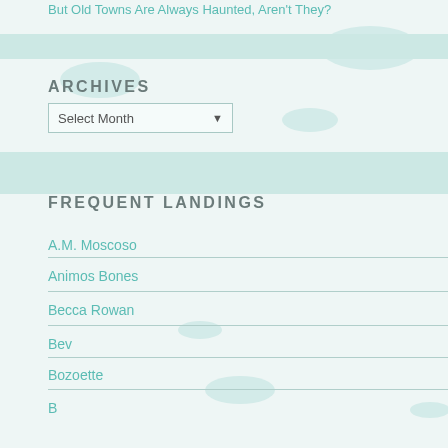But Old Towns Are Always Haunted, Aren't They?
ARCHIVES
Select Month
FREQUENT LANDINGS
A.M. Moscoso
Animos Bones
Becca Rowan
Bev
Bozoette